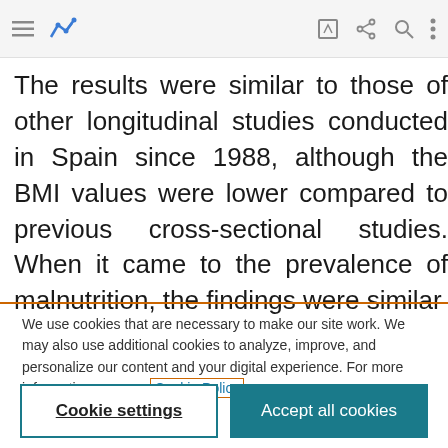[Figure (screenshot): Mobile browser navigation bar with hamburger menu icon, blue analytics logo, edit icon, share icon, search icon, and more options icon on a light grey background]
The results were similar to those of other longitudinal studies conducted in Spain since 1988, although the BMI values were lower compared to previous cross-sectional studies. When it came to the prevalence of malnutrition, the findings were similar
We use cookies that are necessary to make our site work. We may also use additional cookies to analyze, improve, and personalize our content and your digital experience. For more information, see our Cookie Policy
Cookie settings
Accept all cookies